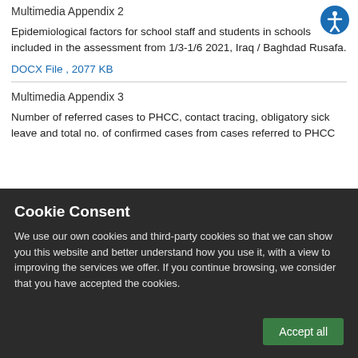Multimedia Appendix 2
Epidemiological factors for school staff and students in schools included in the assessment from 1/3-1/6 2021, Iraq / Baghdad Rusafa.
DOCX File , 2077 KB
Multimedia Appendix 3
Number of referred cases to PHCC, contact tracing, obligatory sick leave and total no. of confirmed cases from cases referred to PHCC
Cookie Consent
We use our own cookies and third-party cookies so that we can show you this website and better understand how you use it, with a view to improving the services we offer. If you continue browsing, we consider that you have accepted the cookies.